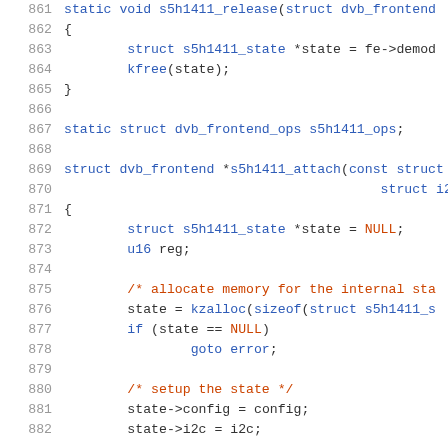[Figure (screenshot): Source code listing in C showing lines 861-882 of a Linux kernel driver file. The code shows s5h1411_release function, s5h1411_ops declaration, and the beginning of s5h1411_attach function with memory allocation and state setup. Syntax highlighted: keywords in blue, comments in orange/brown, values in orange.]